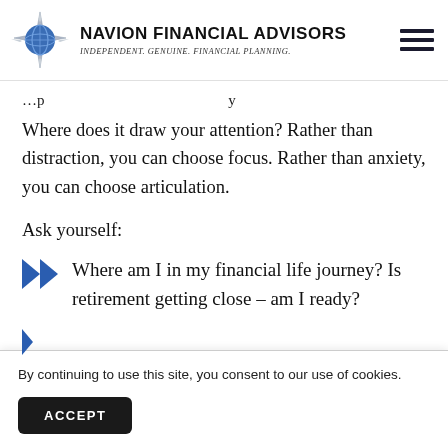Navion Financial Advisors — Independent. Genuine. Financial Planning.
Where does it draw your attention? Rather than distraction, you can choose focus. Rather than anxiety, you can choose articulation.
Ask yourself:
Where am I in my financial life journey? Is retirement getting close – am I ready?
By continuing to use this site, you consent to our use of cookies.